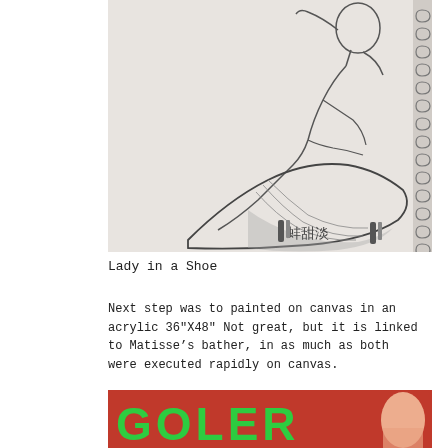[Figure (illustration): A pencil sketch of a reclining female figure in a shoe-like chaise, drawn in a sketchbook with spiral binding visible on the right edge. Chinese characters and pencil holders visible at the bottom.]
Lady in a Shoe
Next step was to painted on canvas in an acrylic 36"X48" Not great, but it is linked to Matisse's bather, in as much as both were executed rapidly on canvas.
[Figure (photo): Partial view of a painting with red background and green block letters spelling 'GOLER', with a figure visible.]